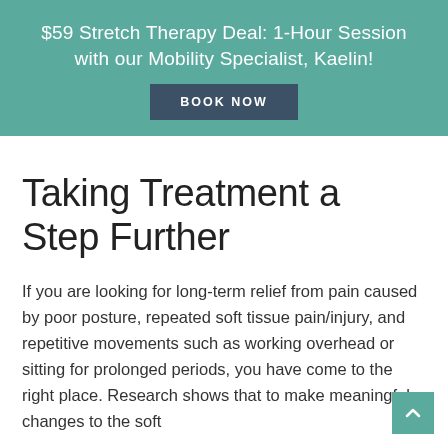$59 Stretch Therapy Deal: 1-Hour Session with our Mobility Specialist, Kaelin!
BOOK NOW
Taking Treatment a Step Further
If you are looking for long-term relief from pain caused by poor posture, repeated soft tissue pain/injury, and repetitive movements such as working overhead or sitting for prolonged periods, you have come to the right place. Research shows that to make meaningful changes to the soft